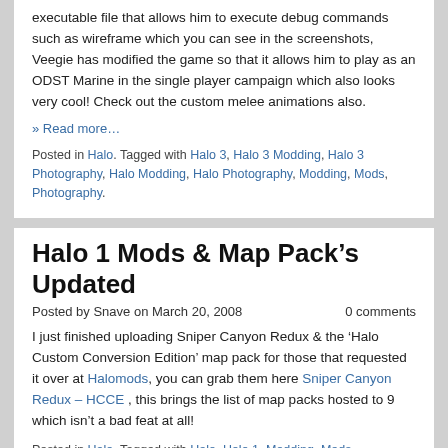executable file that allows him to execute debug commands such as wireframe which you can see in the screenshots, Veegie has modified the game so that it allows him to play as an ODST Marine in the single player campaign which also looks very cool! Check out the custom melee animations also.
» Read more…
Posted in Halo. Tagged with Halo 3, Halo 3 Modding, Halo 3 Photography, Halo Modding, Halo Photography, Modding, Mods, Photography.
Halo 1 Mods & Map Pack's Updated
Posted by Snave on March 20, 2008   0 comments
I just finished uploading Sniper Canyon Redux & the 'Halo Custom Conversion Edition' map pack for those that requested it over at Halomods, you can grab them here Sniper Canyon Redux – HCCE , this brings the list of map packs hosted to 9 which isn't a bad feat at all!
Posted in Halo. Tagged with Halo, Halo 1, Modding, Mods.